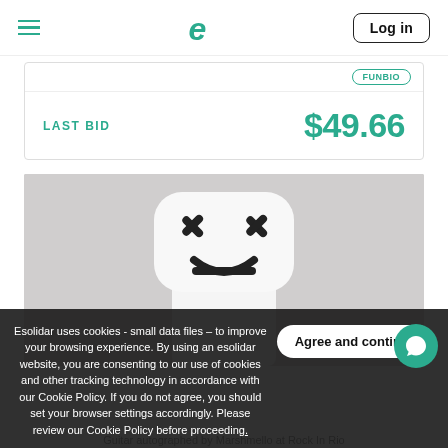≡  e  Log in
FUNBIO
LAST BID  $49.66
[Figure (photo): Person wearing a white Marshmello DJ helmet/mask with black X eyes and smile logo]
Esolidar uses cookies - small data files – to improve your browsing experience. By using an esolidar website, you are consenting to our use of cookies and other tracking technology in accordance with our Cookie Policy. If you do not agree, you should set your browser settings accordingly. Please review our Cookie Policy before proceeding.
Agree and continue
Guitar autographed by Marshmello at Rock In Rio